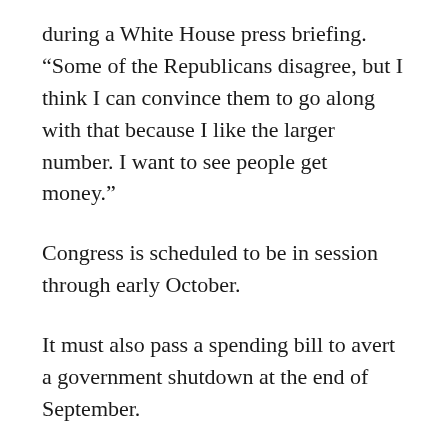during a White House press briefing. “Some of the Republicans disagree, but I think I can convince them to go along with that because I like the larger number. I want to see people get money.”
Congress is scheduled to be in session through early October.
It must also pass a spending bill to avert a government shutdown at the end of September.